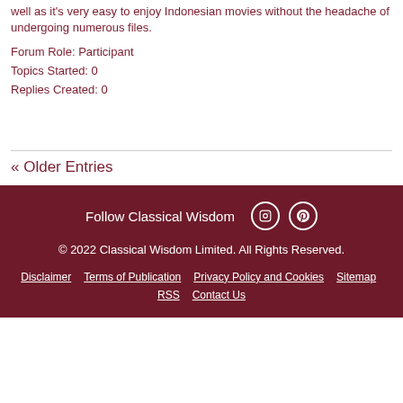well as it's very easy to enjoy Indonesian movies without the headache of undergoing numerous files.
Forum Role: Participant
Topics Started: 0
Replies Created: 0
« Older Entries
Follow Classical Wisdom  © 2022 Classical Wisdom Limited. All Rights Reserved.  Disclaimer  Terms of Publication  Privacy Policy and Cookies  Sitemap  RSS  Contact Us